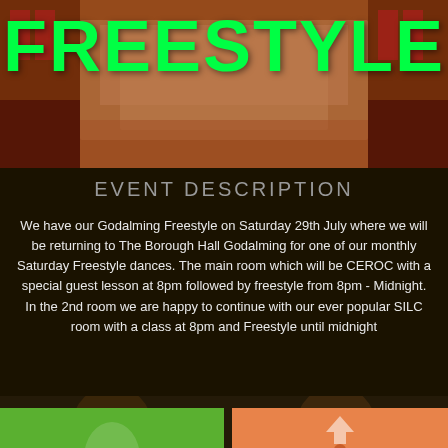[Figure (photo): Indoor venue/dance hall with warm orange-red lighting, blurred background showing stage area with chairs]
FREESTYLE
EVENT DESCRIPTION
We have our Godalming Freestyle on Saturday 29th July where we will be returning to The Borough Hall Godalming for one of our monthly Saturday Freestyle dances. The main room which will be CEROC with a special guest lesson at 8pm followed by freestyle from 8pm - Midnight. In the 2nd room we are happy to continue with our ever popular SILC room with a class at 8pm and Freestyle until midnight
[Figure (infographic): Two colored cards at bottom - green card on left with icon, orange card on right with arrow/chevron up icon]